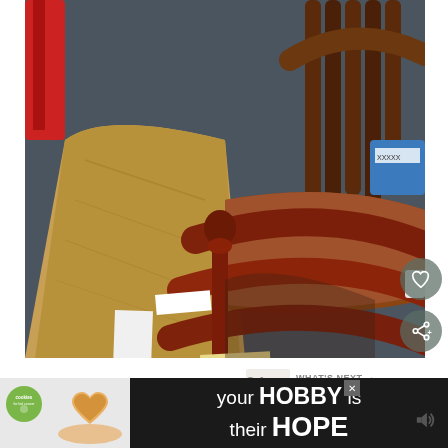[Figure (photo): Photograph of multiple wooden chairs stacked or arranged together in what appears to be a thrift store or secondhand shop. Price tags are visible on the chairs. A tan/oak chair is prominent in the foreground with a darker walnut-toned chair behind it. Red chairs visible in background. A blue container visible upper right.]
[Figure (infographic): What's Next promotional widget showing handwritten-style icon with text 'WHAT'S NEXT' and '10 Tips for Shopping at...' with Tips & Tricks for Shopping at IKEA icon]
Finally, this hutch was to.die.for. It's
[Figure (screenshot): Advertisement banner with dark background showing cookies for kid cancer logo on left, heart-shaped cookie image, and text 'your HOBBY is their HOPE' in white bold text. Close X button visible.]